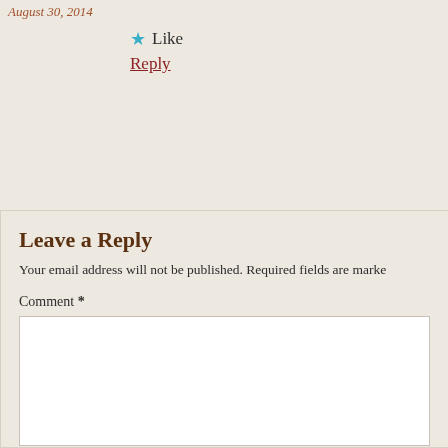August 30, 2014
★ Like
Reply
Leave a Reply
Your email address will not be published. Required fields are marked
Comment *
Name *
Email *
Website